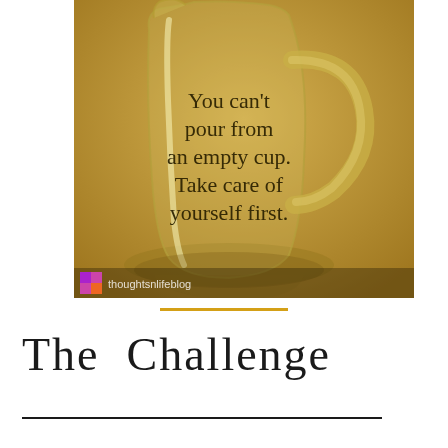[Figure (photo): Photo of a clear glass pitcher/jug on a warm golden-yellow background. Text overlaid on the pitcher reads: 'You can't pour from an empty cup. Take care of yourself first.' A small colorful graphic and 'thoughtsnlifeblog' watermark appear at the bottom left.]
The  Challenge